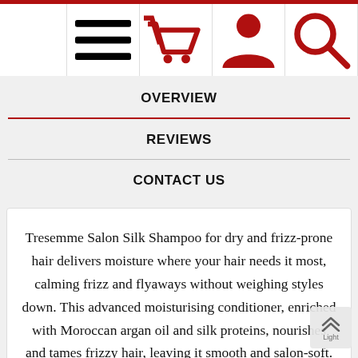Navigation bar with menu, basket, account, and search icons
OVERVIEW
REVIEWS
CONTACT US
Tresemme Salon Silk Shampoo for dry and frizz-prone hair delivers moisture where your hair needs it most, calming frizz and flyaways without weighing styles down. This advanced moisturising conditioner, enriched with Moroccan argan oil and silk proteins, nourishes and tames frizzy hair, leaving it smooth and salon-soft. Light enough for daily use, our Salon Silk system delivers